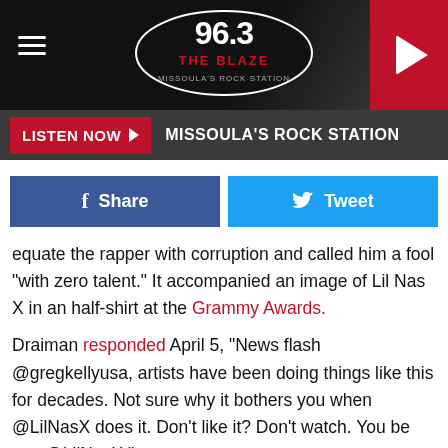[Figure (logo): 96.3 The Blaze radio station header with logo, hamburger menu, and play button]
LISTEN NOW ▶   MISSOULA'S ROCK STATION
Share   Tweet
equate the rapper with corruption and called him a fool "with zero talent." It accompanied an image of Lil Nas X in an half-shirt at the Grammy Awards.
Draiman responded April 5, "News flash @gregkellyusa, artists have been doing things like this for decades. Not sure why it bothers you when @LilNasX does it. Don't like it? Don't watch. You be you @LilNasX."
The singer often uses Twitter and Instagram to address current issues in popular culture. The Disturbed rocker recently reinstated his Twitter account